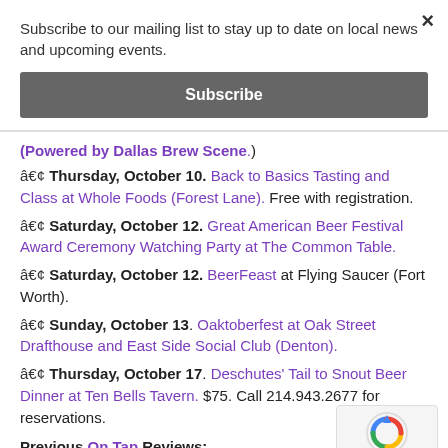Subscribe to our mailing list to stay up to date on local news and upcoming events.
Subscribe
(Powered by Dallas Brew Scene.)
• Thursday, October 10. Back to Basics Tasting and Class at Whole Foods (Forest Lane). Free with registration.
• Saturday, October 12. Great American Beer Festival Award Ceremony Watching Party at The Common Table.
• Saturday, October 12. BeerFeast at Flying Saucer (Fort Worth).
• Sunday, October 13. Oaktoberfest at Oak Street Drafthouse and East Side Social Club (Denton).
• Thursday, October 17. Deschutes' Tail to Snout Beer Dinner at Ten Bells Tavern. $75. Call 214.943.2677 for reservations.
Previous On Tap Reviews:
• Peticolas' Royal Scandal: 10.